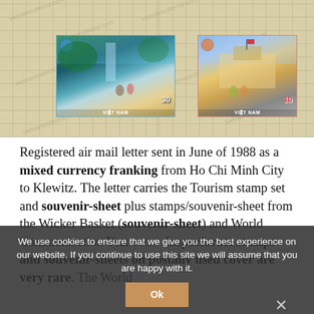[Figure (photo): Two Vietnamese postage stamps mounted on a philatelic album page with grid background. Left stamp shows a waterfall scene with two figures, value 30, labeled VIET NAM. Right stamp shows a building scene with figures in traditional dress, value 10, labeled VIET NAM. Watermarked background with 'vietnamcollector.com' repeated.]
Registered air mail letter sent in June of 1988 as a mixed currency franking from Ho Chi Minh City to Klewitz. The letter carries the Tourism stamp set and souvenir-sheet plus stamps/souvenir-sheet from the Wicker Basket (...) (souvenir-sheet) and World Communication Year sets.   Imperforate stamps and souvenir-sheets on postally used cover are very rare. The World